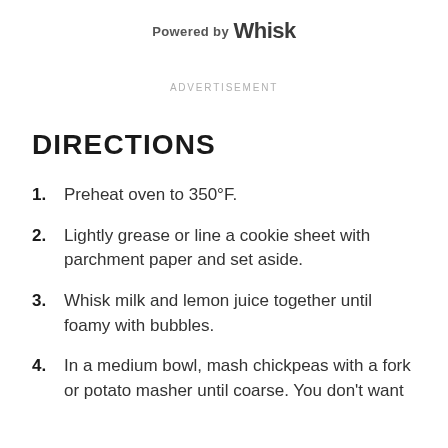Powered by Whisk
ADVERTISEMENT
DIRECTIONS
1. Preheat oven to 350°F.
2. Lightly grease or line a cookie sheet with parchment paper and set aside.
3. Whisk milk and lemon juice together until foamy with bubbles.
4. In a medium bowl, mash chickpeas with a fork or potato masher until coarse. You don't want